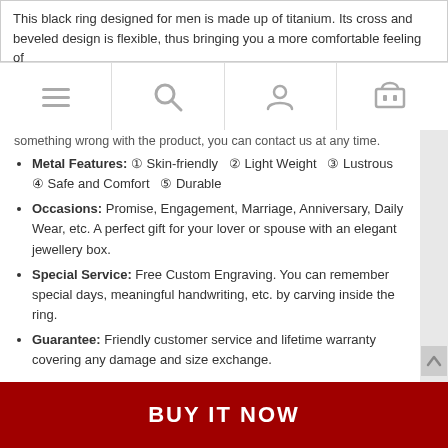This black ring designed for men is made up of titanium. Its cross and beveled design is flexible, thus bringing you a more comfortable feeling of
[Figure (screenshot): Mobile navigation bar with hamburger menu, search, user account, and shopping cart icons]
something wrong with the product, you can contact us at any time.
Metal Features: ① Skin-friendly ② Light Weight ③ Lustrous ④ Safe and Comfort ⑤ Durable
Occasions: Promise, Engagement, Marriage, Anniversary, Daily Wear, etc. A perfect gift for your lover or spouse with an elegant jewellery box.
Special Service: Free Custom Engraving. You can remember special days, meaningful handwriting, etc. by carving inside the ring.
Guarantee: Friendly customer service and lifetime warranty covering any damage and size exchange.
Product Details
| Width | 8 mm |
| --- | --- |
| Size | 5 - 14.5 |
BUY IT NOW